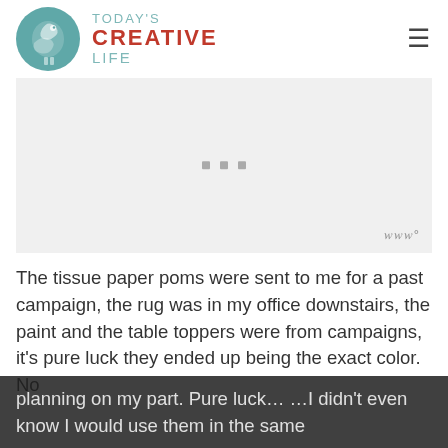TODAY'S CREATIVE LIFE
[Figure (photo): Placeholder image area with three small grey squares and a watermark symbol in the bottom right]
The tissue paper poms were sent to me for a past campaign, the rug was in my office downstairs, the paint and the table toppers were from campaigns, it’s pure luck they ended up being the exact color.  No planning on my part. Pure luck... ...I didn't even know I would use them in the same